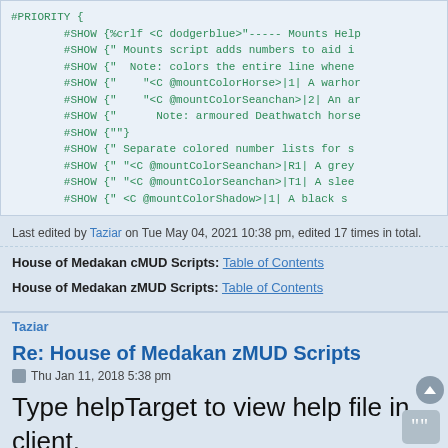[Figure (screenshot): Code block showing MUD script with #PRIORITY and #SHOW commands in green monospace font on light blue background]
Last edited by Taziar on Tue May 04, 2021 10:38 pm, edited 17 times in total.
House of Medakan cMUD Scripts: Table of Contents
House of Medakan zMUD Scripts: Table of Contents
Taziar
Re: House of Medakan zMUD Scripts
Thu Jan 11, 2018 5:38 pm
Type helpTarget to view help file in client.